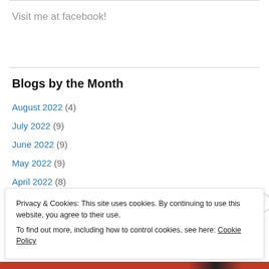Visit me at facebook!
Blogs by the Month
August 2022 (4)
July 2022 (9)
June 2022 (9)
May 2022 (9)
April 2022 (8)
March 2022 (9)
Privacy & Cookies: This site uses cookies. By continuing to use this website, you agree to their use.
To find out more, including how to control cookies, see here: Cookie Policy
Close and accept